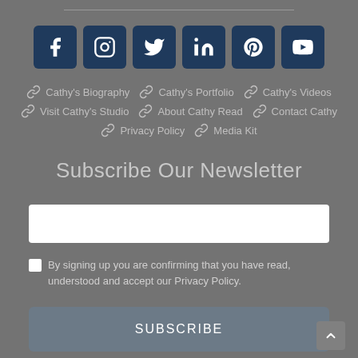[Figure (infographic): Row of 6 social media icon buttons (Facebook, Instagram, Twitter, LinkedIn, Pinterest, YouTube) with dark navy square backgrounds]
Cathy's Biography | Cathy's Portfolio | Cathy's Videos | Visit Cathy's Studio | About Cathy Read | Contact Cathy | Privacy Policy | Media Kit
Subscribe Our Newsletter
[Figure (screenshot): Empty white email input field]
By signing up you are confirming that you have read, understood and accept our Privacy Policy.
SUBSCRIBE
[Figure (infographic): Back to top button with upward chevron arrow on grey square background]